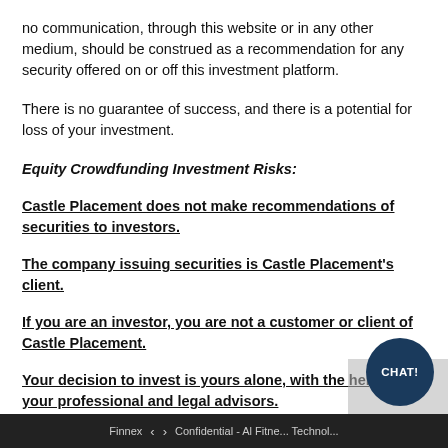no communication, through this website or in any other medium, should be construed as a recommendation for any security offered on or off this investment platform.
There is no guarantee of success, and there is a potential for loss of your investment.
Equity Crowdfunding Investment Risks:
Castle Placement does not make recommendations of securities to investors.
The company issuing securities is Castle Placement's client.
If you are an investor, you are not a customer or client of Castle Placement.
Your decision to invest is yours alone, with the help of your professional and legal advisors.
Finnex  <  >  Confidential - Al Fitne... Technol...